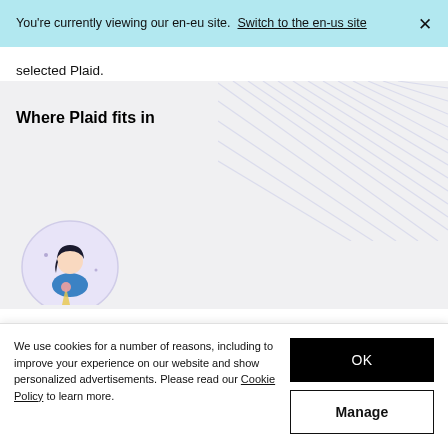You're currently viewing our en-eu site. Switch to the en-us site ×
selected Plaid.
Where Plaid fits in
[Figure (illustration): Circular illustration of a person with dark hair looking at a phone or device, with a light purple background, partially visible at the bottom of the section.]
We use cookies for a number of reasons, including to improve your experience on our website and show personalized advertisements. Please read our Cookie Policy to learn more.